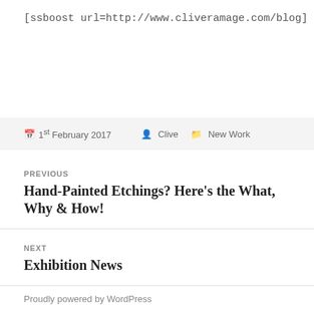[ssboost url=http://www.cliveramage.com/blog]
📅 1st February 2017  👤 Clive  🗂 New Work
PREVIOUS
Hand-Painted Etchings? Here's the What, Why & How!
NEXT
Exhibition News
Proudly powered by WordPress